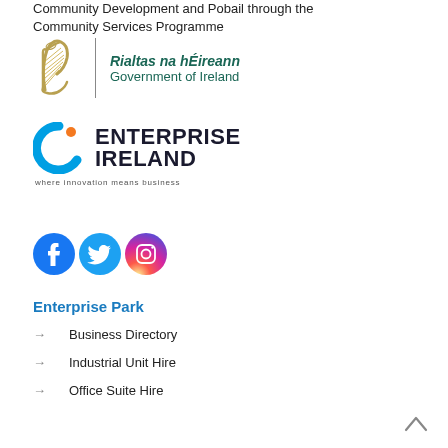Community Development and Pobail through the Community Services Programme
[Figure (logo): Rialtas na hÉireann / Government of Ireland official logo with harp emblem and vertical divider]
[Figure (logo): Enterprise Ireland logo with blue swirl icon, bold text ENTERPRISE IRELAND, and tagline 'where innovation means business']
[Figure (logo): Social media icons: Facebook (blue circle), Twitter (blue bird circle), Instagram (gradient circle)]
Enterprise Park
Business Directory
Industrial Unit Hire
Office Suite Hire